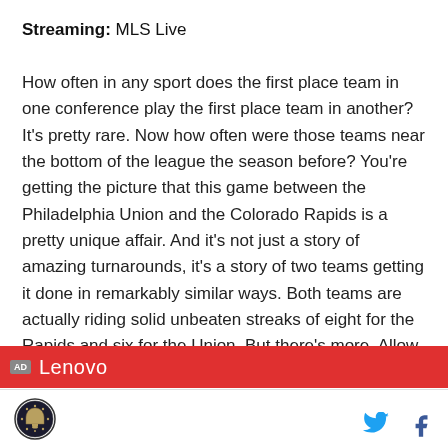Streaming: MLS Live
How often in any sport does the first place team in one conference play the first place team in another? It's pretty rare. Now how often were those teams near the bottom of the league the season before? You're getting the picture that this game between the Philadelphia Union and the Colorado Rapids is a pretty unique affair. And it's not just a story of amazing turnarounds, it's a story of two teams getting it done in remarkably similar ways. Both teams are actually riding solid unbeaten streaks of eight for the Rapids and six for the Union. But there's more. Allow me to make the case.
[Figure (other): Advertisement banner with red background showing 'AD' badge and 'Lenovo' text]
Logo icon and social media icons (Twitter, Facebook)